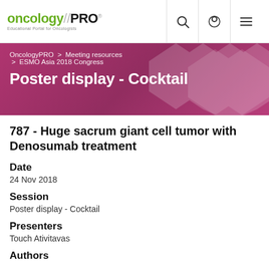[Figure (logo): OncologyPRO logo with green 'oncology' text and gray double-slash separator followed by 'PRO' in dark text with registered trademark symbol]
OncologyPRO > Meeting resources > ESMO Asia 2018 Congress
Poster display - Cocktail
787 - Huge sacrum giant cell tumor with Denosumab treatment
Date
24 Nov 2018
Session
Poster display - Cocktail
Presenters
Touch Ativitavas
Authors